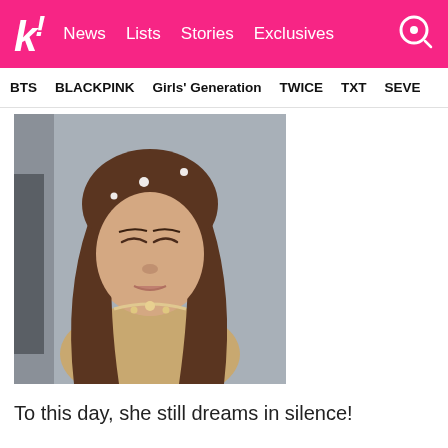k! News  Lists  Stories  Exclusives
BTS  BLACKPINK  Girls' Generation  TWICE  TXT  SEVE
[Figure (photo): Young Asian woman with long brown wavy hair, eyes downcast, wearing a glittery/sequined outfit, with small white flower decorations in her hair, posing in what appears to be an indoor setting with a grey wall background.]
To this day, she still dreams in silence!